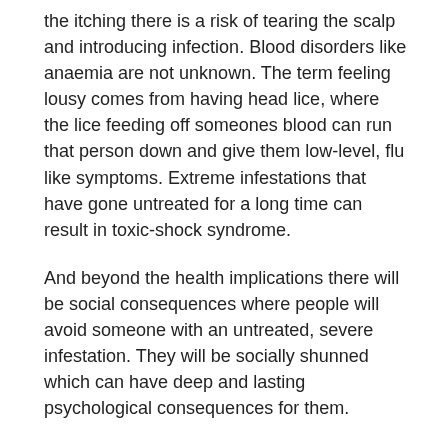the itching there is a risk of tearing the scalp and introducing infection. Blood disorders like anaemia are not unknown. The term feeling lousy comes from having head lice, where the lice feeding off someones blood can run that person down and give them low-level, flu like symptoms. Extreme infestations that have gone untreated for a long time can result in toxic-shock syndrome.
And beyond the health implications there will be social consequences where people will avoid someone with an untreated, severe infestation. They will be socially shunned which can have deep and lasting psychological consequences for them.
Leaving a head lice infestation untreated, or even treating it in a casual way is simply not a wise thing to do.